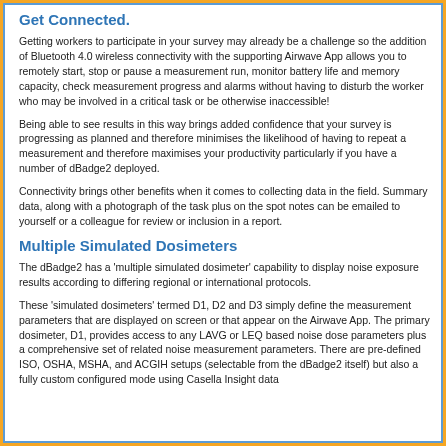Get Connected.
Getting workers to participate in your survey may already be a challenge so the addition of Bluetooth 4.0 wireless connectivity with the supporting Airwave App allows you to remotely start, stop or pause a measurement run, monitor battery life and memory capacity, check measurement progress and alarms without having to disturb the worker who may be involved in a critical task or be otherwise inaccessible!
Being able to see results in this way brings added confidence that your survey is progressing as planned and therefore minimises the likelihood of having to repeat a measurement and therefore maximises your productivity particularly if you have a number of dBadge2 deployed.
Connectivity brings other benefits when it comes to collecting data in the field. Summary data, along with a photograph of the task plus on the spot notes can be emailed to yourself or a colleague for review or inclusion in a report.
Multiple Simulated Dosimeters
The dBadge2 has a 'multiple simulated dosimeter' capability to display noise exposure results according to differing regional or international protocols.
These 'simulated dosimeters' termed D1, D2 and D3 simply define the measurement parameters that are displayed on screen or that appear on the Airwave App. The primary dosimeter, D1, provides access to any LAVG or LEQ based noise dose parameters plus a comprehensive set of related noise measurement parameters. There are pre-defined ISO, OSHA, MSHA, and ACGIH setups (selectable from the dBadge2 itself) but also a fully custom configured mode using Casella Insight data